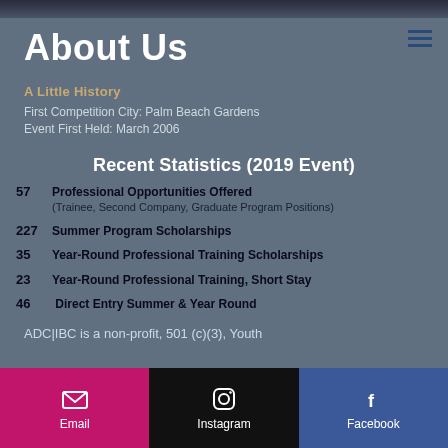About Us
A Little History
First Competition City: Palm Beach Gardens
Event First Held: March 2006
Recent Statistics (2019 Event)
57   Professional Opportunities Offered (Trainee, Second Company, Graduate Program Positions)
227  Summer Program Scholarships
35   Year-Round Professional Training Scholarships
23   Year-Round Professional Training, Short Stay
46    Direct Entry Summer & Year Round
ADC|IBC is a non-profit, 501 (c)(3), Youth
Email | Instagram | Facebook